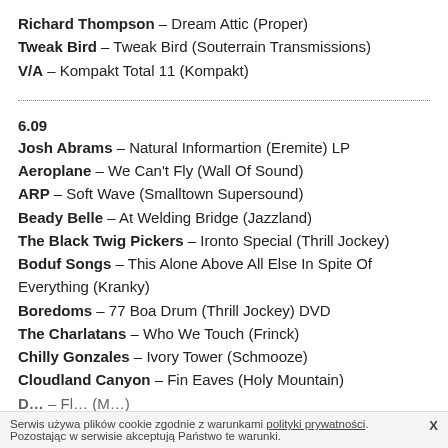Richard Thompson – Dream Attic (Proper)
Tweak Bird – Tweak Bird (Souterrain Transmissions)
V/A – Kompakt Total 11 (Kompakt)
6.09
Josh Abrams – Natural Informartion (Eremite) LP
Aeroplane – We Can't Fly (Wall Of Sound)
ARP – Soft Wave (Smalltown Supersound)
Beady Belle – At Welding Bridge (Jazzland)
The Black Twig Pickers – Ironto Special (Thrill Jockey)
Boduf Songs – This Alone Above All Else In Spite Of Everything (Kranky)
Boredoms – 77 Boa Drum (Thrill Jockey) DVD
The Charlatans – Who We Touch (Frinck)
Chilly Gonzales – Ivory Tower (Schmooze)
Cloudland Canyon – Fin Eaves (Holy Mountain)
Serwis używa plików cookie zgodnie z warunkami polityki prywatności. Pozostając w serwisie akceptują Państwo te warunki.